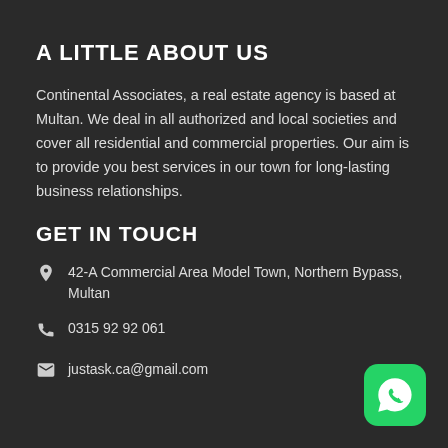A LITTLE ABOUT US
Continental Associates, a real estate agency is based at Multan. We deal in all authorized and local societies and cover all residential and commercial properties. Our aim is to provide you best services in our town for long-lasting business relationships.
GET IN TOUCH
42-A Commercial Area Model Town, Northern Bypass, Multan
0315 92 92 061
justask.ca@gmail.com